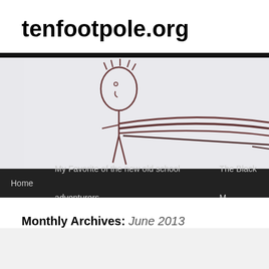tenfootpole.org
[Figure (illustration): Header image showing a child's stick figure drawing on white paper, depicting a person with a round head, hair lines, and a body holding what appears to be a long pole or staff. The image is cropped and the figure extends beyond the right edge.]
Home  My Favorite of the new old school adventurers  The Black M
Monthly Archives: June 2013